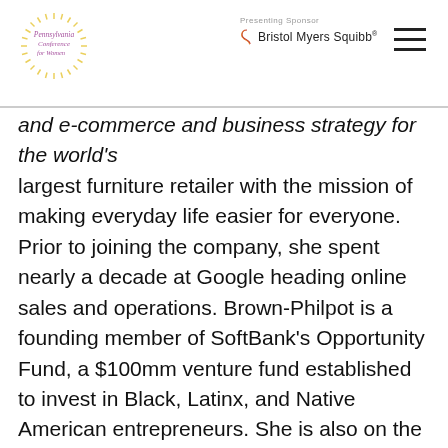Pennsylvania Conference for Women — Presenting Sponsor Bristol Myers Squibb
and e-commerce and business strategy for the world's largest furniture retailer with the mission of making everyday life easier for everyone. Prior to joining the company, she spent nearly a decade at Google heading online sales and operations. Brown-Philpot is a founding member of SoftBank's Opportunity Fund, a $100mm venture fund established to invest in Black, Latinx, and Native American entrepreneurs. She is also on the Board of Directors for HP Inc, Nordstrom, Noom, StockX, Black Girls Code, and The Urban Institute.  She holds a BS in economics from the Wharton School of Business and an MBA from Stanford University. Brown-Philpot lives in the San Francisco Bay Area with her husband and two daughters.